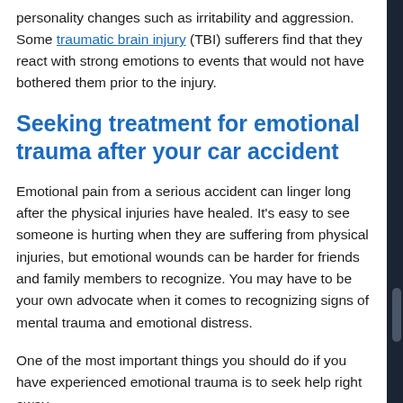personality changes such as irritability and aggression. Some traumatic brain injury (TBI) sufferers find that they react with strong emotions to events that would not have bothered them prior to the injury.
Seeking treatment for emotional trauma after your car accident
Emotional pain from a serious accident can linger long after the physical injuries have healed. It's easy to see someone is hurting when they are suffering from physical injuries, but emotional wounds can be harder for friends and family members to recognize. You may have to be your own advocate when it comes to recognizing signs of mental trauma and emotional distress.
One of the most important things you should do if you have experienced emotional trauma is to seek help right away.